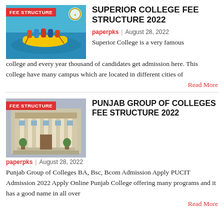[Figure (photo): Thumbnail image with FEE STRUCTURE badge overlay — people rafting on yellow boat in water (Superior College)]
SUPERIOR COLLEGE FEE STRUCTURE 2022
paperpks | August 28, 2022
Superior College is a very famous college and every year thousand of candidates get admission here. This college have many campus which are located in different cities of
Read More
[Figure (photo): Thumbnail image with FEE STRUCTURE badge overlay — building with columns (Punjab Group of Colleges)]
PUNJAB GROUP OF COLLEGES FEE STRUCTURE 2022
paperpks | August 28, 2022
Punjab Group of Colleges BA, Bsc, Bcom Admission Apply PUCIT Admission 2022 Apply Online Punjab College offering many programs and it has a good name in all over
Read More